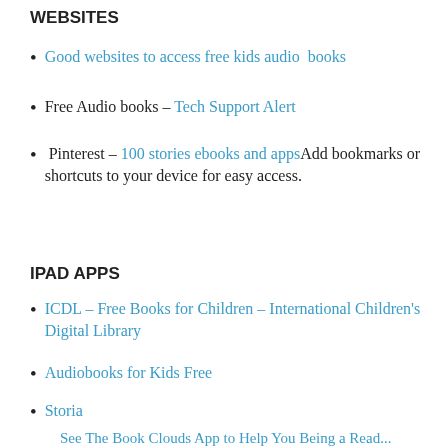WEBSITES
Good websites to access free kids audio books
Free Audio books – Tech Support Alert
Pinterest – 100 stories ebooks and appsAdd bookmarks or shortcuts to your device for easy access.
IPAD APPS
ICDL – Free Books for Children – International Children's Digital Library
Audiobooks for Kids Free
Storia
See The Book Clouds App to Help You Being a Read...